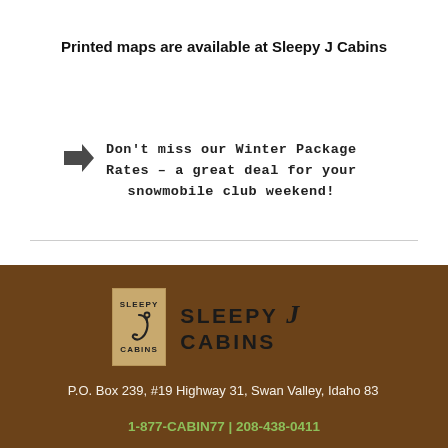Printed maps are available at Sleepy J Cabins
Don't miss our Winter Package Rates – a great deal for your snowmobile club weekend!
[Figure (logo): Sleepy J Cabins logo — square badge with fishing hook and brand name text alongside]
P.O. Box 239, #19 Highway 31, Swan Valley, Idaho 83
1-877-CABIN77 | 208-438-0411